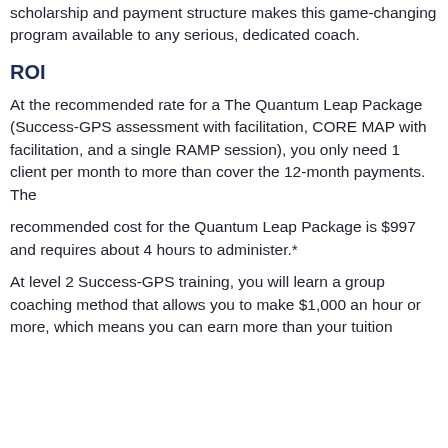scholarship and payment structure makes this game-changing program available to any serious, dedicated coach.
ROI
At the recommended rate for a The Quantum Leap Package (Success-GPS assessment with facilitation, CORE MAP with facilitation, and a single RAMP session), you only need 1 client per month to more than cover the 12-month payments. The
recommended cost for the Quantum Leap Package is $997 and requires about 4 hours to administer.*
At level 2 Success-GPS training, you will learn a group coaching method that allows you to make $1,000 an hour or more, which means you can earn more than your tuition